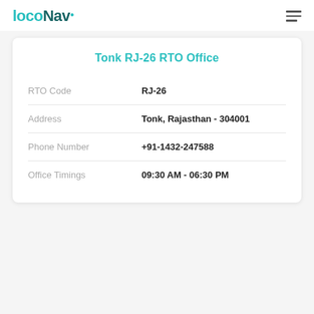LocoNav
Tonk RJ-26 RTO Office
| Field | Value |
| --- | --- |
| RTO Code | RJ-26 |
| Address | Tonk, Rajasthan - 304001 |
| Phone Number | +91-1432-247588 |
| Office Timings | 09:30 AM - 06:30 PM |